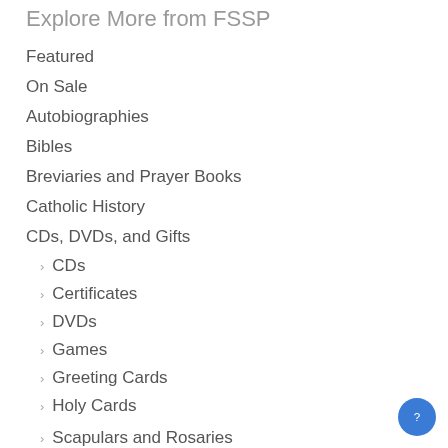Explore More from FSSP
Featured
On Sale
Autobiographies
Bibles
Breviaries and Prayer Books
Catholic History
CDs, DVDs, and Gifts
CDs
Certificates
DVDs
Games
Greeting Cards
Holy Cards
Scapulars and Rosaries
Scapulars
Children and Families
Education